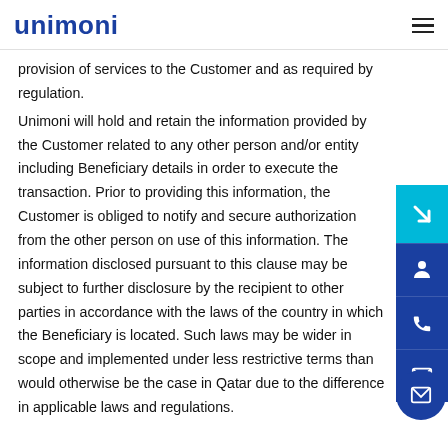unimoni
provision of services to the Customer and as required by regulation.
Unimoni will hold and retain the information provided by the Customer related to any other person and/or entity including Beneficiary details in order to execute the transaction. Prior to providing this information, the Customer is obliged to notify and secure authorization from the other person on use of this information. The information disclosed pursuant to this clause may be subject to further disclosure by the recipient to other parties in accordance with the laws of the country in which the Beneficiary is located. Such laws may be wider in scope and implemented under less restrictive terms than would otherwise be the case in Qatar due to the difference in applicable laws and regulations.